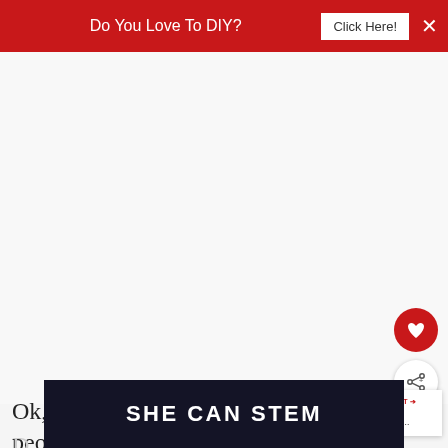Do You Love To DIY? Click Here! ×
[Figure (other): Large blank/white image area representing the main article image]
Ok, so this is the one most people head to
[Figure (infographic): SHE CAN STEM advertisement banner — dark background with bold white text]
D... reets w... and...